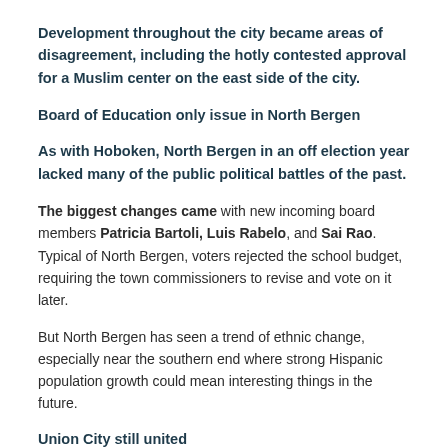Development throughout the city became areas of disagreement, including the hotly contested approval for a Muslim center on the east side of the city.
Board of Education only issue in North Bergen
As with Hoboken, North Bergen in an off election year lacked many of the public political battles of the past.
The biggest changes came with new incoming board members Patricia Bartoli, Luis Rabelo, and Sai Rao. Typical of North Bergen, voters rejected the school budget, requiring the town commissioners to revise and vote on it later.
But North Bergen has seen a trend of ethnic change, especially near the southern end where strong Hispanic population growth could mean interesting things in the future.
Union City still united